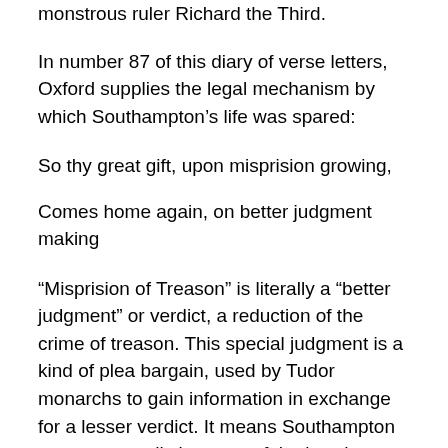monstrous ruler Richard the Third.
In number 87 of this diary of verse letters, Oxford supplies the legal mechanism by which Southampton’s life was spared:
So thy great gift, upon misprision growing,
Comes home again, on better judgment making
“Misprision of Treason” is literally a “better judgment” or verdict, a reduction of the crime of treason. This special judgment is a kind of plea bargain, used by Tudor monarchs to gain information in exchange for a lesser verdict. It means Southampton was supposedly ignorant of the law; he knew about the plot but didn’t really participate and failed to report it; he expresses true sorrow or repentance; and it gives him the possibility of future